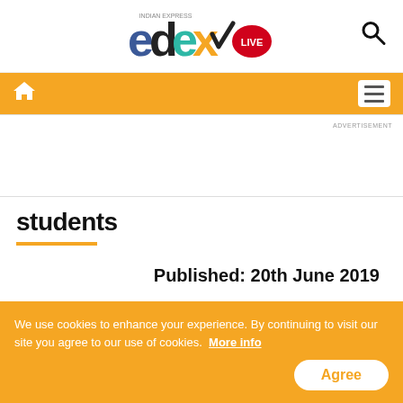[Figure (logo): EdexLive logo from Indian Express — colorful letters e, d, e, x with a checkmark, and LIVE badge in red]
[Figure (infographic): Orange navigation bar with home icon on left and hamburger menu icon on right]
ADVERTISEMENT
students
Published: 20th June 2019
We use cookies to enhance your experience. By continuing to visit our site you agree to our use of cookies. More info